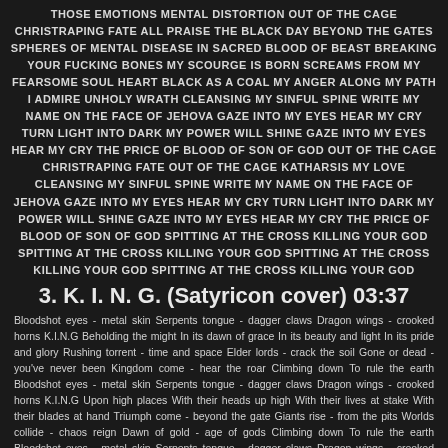THOSE EMOTIONS MENTAL DISTORTION OUT OF THE CAGE CHRISTRAPING FATE ALL PRAISE THE BLACK DAY BEYOND THE GATES SPHERES OF MENTAL DISEASE IN SACRED BLOOD OF BEAST BREAKING YOUR FUCKING BONES MY SCOURGE IS BORN SCREAMS FROM MY FEARSOME SOUL HEART BLACK AS A COAL MY ANGER ALONG MY PATH I ADMIRE UNHOLY WRATH CLEANSING MY SINFUL SPINE WRITE MY NAME ON THE FACE OF JEHOVA GAZE INTO MY EYES HEAR MY CRY TURN LIGHT INTO DARK MY POWER WILL SHINE GAZE INTO MY EYES HEAR MY CRY THE PRICE OF BLOOD OF SON OF GOD OUT OF THE CAGE CHRISTRAPING FATE OUT OF THE CAGE KATHARSIS MY LOVE CLEANSING MY SINFUL SPINE WRITE MY NAME ON THE FACE OF JEHOVA GAZE INTO MY EYES HEAR MY CRY TURN LIGHT INTO DARK MY POWER WILL SHINE GAZE INTO MY EYES HEAR MY CRY THE PRICE OF BLOOD OF SON OF GOD SPITTING AT THE CROSS KILLING YOUR GOD SPITTING AT THE CROSS KILLING YOUR GOD SPITTING AT THE CROSS KILLING YOUR GOD SPITTING AT THE CROSS KILLING YOUR GOD
3. K. I. N. G. (Satyricon cover) 03:37
Bloodshot eyes - metal skin Serpents tongue - dagger claws Dragon wings - crooked horns K.I.N.G Beholding the might In its dawn of grace In its beauty and light In its pride and glory Rushing torrent - time and space Elder lords - crack the soil Gone or dead - you've never been Kingdom come - hear the roar Climbing down To rule the earth Bloodshot eyes - metal skin Serpents tongue - dagger claws Dragon wings - crooked horns K.I.N.G Upon high places With their heads up high With their lives at stake With their blades at hand Triumph come - beyond the gate Giants rise - from the pits Worlds collide - chaos reign Dawn of gold - age of gods Climbing down To rule the earth Bloodshot eyes - metal skin Serpents tongue - dagger claws Dragon wings - crooked horns K.I.N.G Lightning strikes - wake up now He the fourth - hate the weak Summon all - make the signs Legions march -earth to void Climbing down To rule the earth